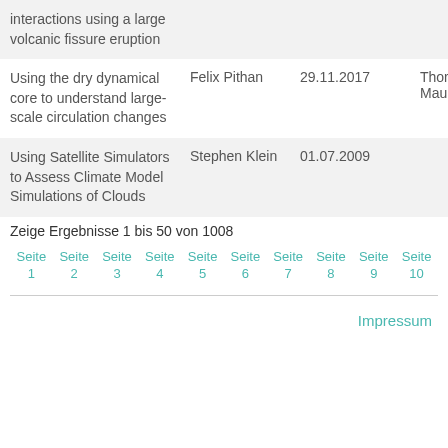| Title | Author | Date | Reviewer |
| --- | --- | --- | --- |
| interactions using a large volcanic fissure eruption |  |  |  |
| Using the dry dynamical core to understand large-scale circulation changes | Felix Pithan | 29.11.2017 | Thorsten Mauritsen |
| Using Satellite Simulators to Assess Climate Model Simulations of Clouds | Stephen Klein | 01.07.2009 |  |
Zeige Ergebnisse 1 bis 50 von 1008
Seite 1
Seite 2
Seite 3
Seite 4
Seite 5
Seite 6
Seite 7
Seite 8
Seite 9
Seite 10
Impressum